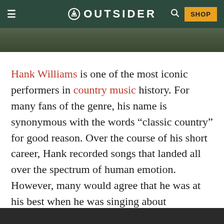OUTSIDER
[Figure (photo): Partial hero image strip showing a dark outdoor/nature scene]
Hank Williams is one of the most iconic performers in country music history. For many fans of the genre, his name is synonymous with the words “classic country” for good reason. Over the course of his short career, Hank recorded songs that landed all over the spectrum of human emotion. However, many would agree that he was at his best when he was singing about heartache. Songs like “I’m So Lonesome I Could Cry”, “Your Cold, Cold Heart”